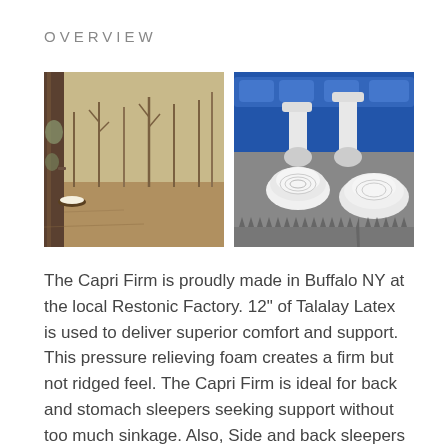OVERVIEW
[Figure (photo): A rubber tree in a forest with a bowl collecting latex sap at the base of the trunk, dry sandy ground and bare trees in background]
[Figure (photo): Industrial machinery with white pipes and nozzle pouring white latex foam onto a textured grey surface with spike-like patterns, blue industrial rollers visible in background]
The Capri Firm is proudly made in Buffalo NY at the local Restonic Factory. 12" of Talalay Latex is used to deliver superior comfort and support. This pressure relieving foam creates a firm but not ridged feel. The Capri Firm is ideal for back and stomach sleepers seeking support without too much sinkage. Also, Side and back sleepers who appreciate a bit firmer feel will also gravitate to this mattress. Talalay latex provides a more buoyant feel than